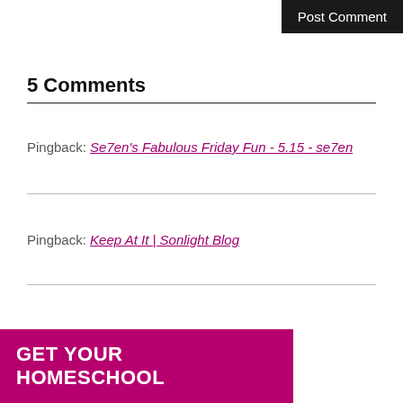Post Comment
5 Comments
Pingback: Se7en's Fabulous Friday Fun - 5.15 - se7en
Pingback: Keep At It | Sonlight Blog
GET YOUR HOMESCHOOL